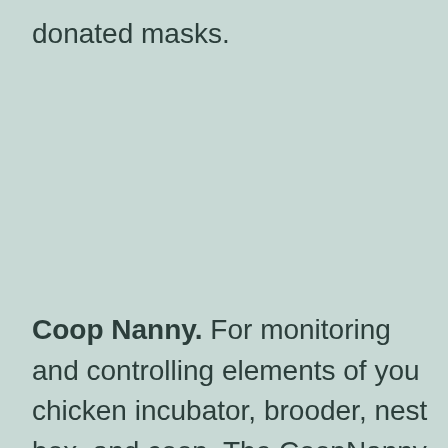donated masks.
Coop Nanny. For monitoring and controlling elements of you chicken incubator, brooder, nest box, and coop. The CoopNanny is a work in progress passion project born of my